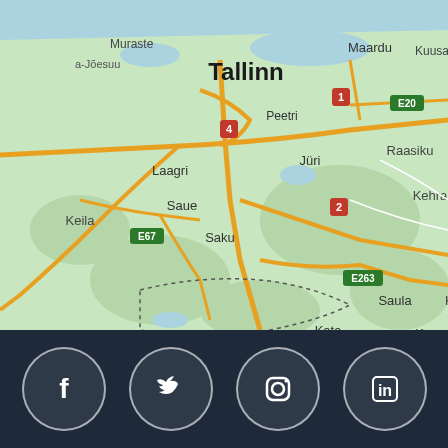[Figure (map): Google Maps view centered on Tallinn, Estonia and surrounding areas including Maardu, Peetri, Jüri, Raasiku, Kehra, Laagri, Saue, Saku, Keila, Saula, Kata, Kose. Road markers: 1, 2, 4 (red), E20, E67, E263 (green). Map shows road network with yellow highways on green/teal terrain.]
[Figure (other): Dark navy footer bar with four social media icons in circular outlines: Facebook (f), Twitter (bird), Instagram (camera), LinkedIn (in)]